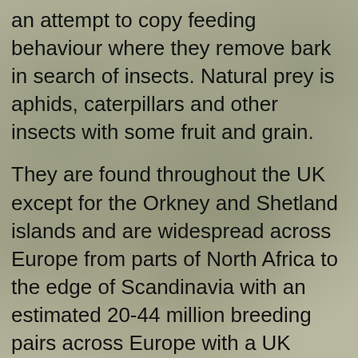an attempt to copy feeding behaviour where they remove bark in search of insects. Natural prey is aphids, caterpillars and other insects with some fruit and grain.
They are found throughout the UK except for the Orkney and Shetland islands and are widespread across Europe from parts of North Africa to the edge of Scandinavia with an estimated 20-44 million breeding pairs across Europe with a UK population of approximately 3.6 million breeding pairs and an additional 15 million birds wintering in the UK from October to March.
Breeding
Blue tits will start seeking nest sites in February and will nest in tree holes and rock